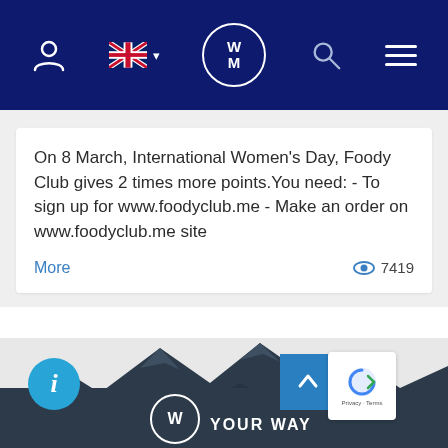[Figure (screenshot): Website navigation bar with dark navy blue background containing: person/account icon, UK flag with dropdown arrow, WM logo circle, search icon, and hamburger menu icon]
On 8 March, International Women's Day, Foody Club gives 2 times more points.You need: - To sign up for www.foodyclub.me - Make an order on www.foodyclub.me site
More
7419
[Figure (illustration): Mountain silhouette illustration in dark slate/charcoal color against light grey background, forming the footer decorative element of the website]
[Figure (other): Blue circular info button with italic i, blue square arrow-up button, and reCAPTCHA badge with Privacy and Terms text]